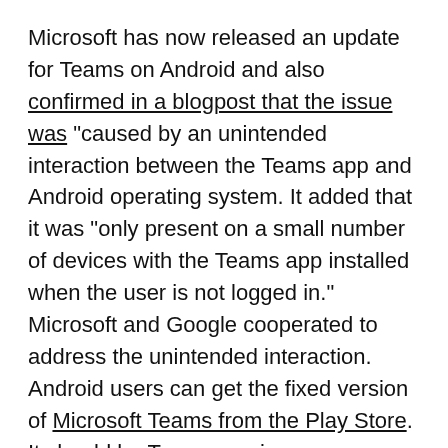Microsoft has now released an update for Teams on Android and also confirmed in a blogpost that the issue was "caused by an unintended interaction between the Teams app and Android operating system. It added that it was "only present on a small number of devices with the Teams app installed when the user is not logged in."
Microsoft and Google cooperated to address the unintended interaction. Android users can get the fixed version of Microsoft Teams from the Play Store. It should be Teams version 1416/1.0.0.2021194504 or higher.
Google is also set to roll-out an Android update on January 4 to address the issue from its side.